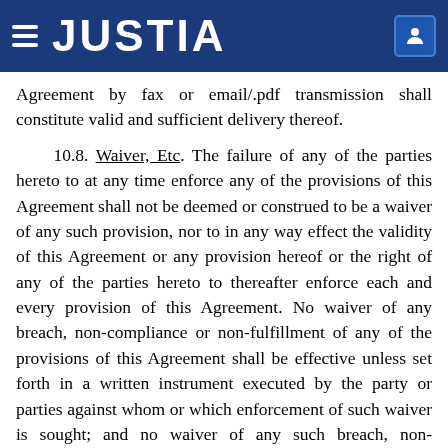JUSTIA
Agreement by fax or email/.pdf transmission shall constitute valid and sufficient delivery thereof.
10.8. Waiver, Etc. The failure of any of the parties hereto to at any time enforce any of the provisions of this Agreement shall not be deemed or construed to be a waiver of any such provision, nor to in any way effect the validity of this Agreement or any provision hereof or the right of any of the parties hereto to thereafter enforce each and every provision of this Agreement. No waiver of any breach, non-compliance or non-fulfillment of any of the provisions of this Agreement shall be effective unless set forth in a written instrument executed by the party or parties against whom or which enforcement of such waiver is sought; and no waiver of any such breach, non-compliance or non-fulfillment shall be construed or deemed to be a waiver of any